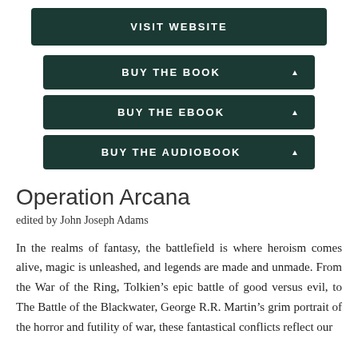VISIT WEBSITE
BUY THE BOOK
BUY THE EBOOK
BUY THE AUDIOBOOK
Operation Arcana
edited by John Joseph Adams
In the realms of fantasy, the battlefield is where heroism comes alive, magic is unleashed, and legends are made and unmade. From the War of the Ring, Tolkien’s epic battle of good versus evil, to The Battle of the Blackwater, George R.R. Martin’s grim portrait of the horror and futility of war, these fantastical conflicts reflect our